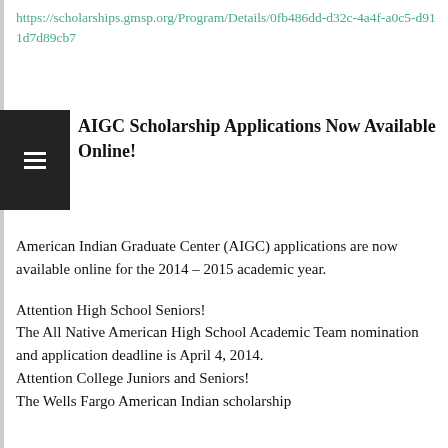https://scholarships.gmsp.org/Program/Details/0fb486dd-d32c-4a4f-a0c5-d911d7d89cb7
AIGC Scholarship Applications Now Available Online!
American Indian Graduate Center (AIGC) applications are now available online for the 2014 – 2015 academic year.
Attention High School Seniors!
The All Native American High School Academic Team nomination and application deadline is April 4, 2014.
Attention College Juniors and Seniors!
The Wells Fargo American Indian scholarship